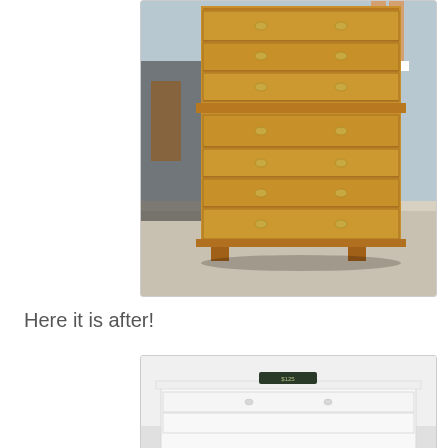[Figure (photo): Photograph of a tall wooden dresser with multiple drawers and brass hardware, photographed outdoors on a concrete surface. The dresser is honey/oak colored with ornate brass pulls.]
Here it is after!
[Figure (photo): Photograph of the same dresser after being painted white, showing the top portion of the dresser with a small decorative sign on top. The dresser now has a clean white painted finish.]